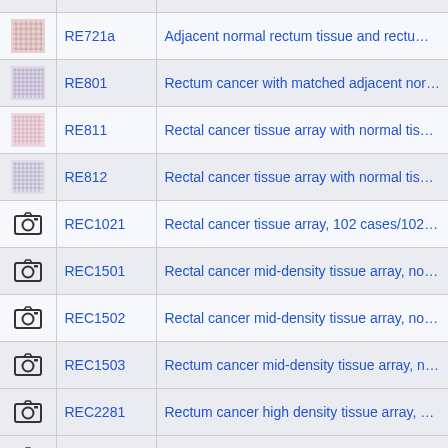| Image | ID | Description |
| --- | --- | --- |
| [tissue grid] | RE721a | Adjacent normal rectum tissue and rectum cancer tissue |
| [tissue grid] | RE801 | Rectum cancer with matched adjacent normal tissue arra… |
| [tissue grid] | RE811 | Rectal cancer tissue array with normal tissues from autop… |
| [tissue grid] | RE812 | Rectal cancer tissue array with normal tissue from autops… |
| [camera] | REC1021 | Rectal cancer tissue array, 102 cases/102 cores |
| [camera] | REC1501 | Rectal cancer mid-density tissue array, non-overlapping w… |
| [camera] | REC1502 | Rectal cancer mid-density tissue array, non-overlapping w… |
| [camera] | REC1503 | Rectum cancer mid-density tissue array, non-overlapping… |
| [camera] | REC2281 | Rectum cancer high density tissue array, 228 cases/228 c… |
| [camera] | REC481 | Rectum cancer and normal tissue array, 16 cases/48 core… |
| [camera] | REC961 | Rectum cancer and normal tissue array, non-overlapping… |
| [camera] | REC962 | Rectal cancer and normal tissue array, non-overlapping w… |
| [tissue grid] | REF482 | Rectum adenocarcinoma with normal and adjacent rectur… |